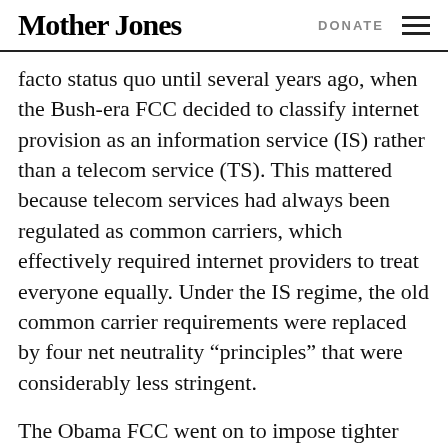Mother Jones | DONATE
facto status quo until several years ago, when the Bush-era FCC decided to classify internet provision as an information service (IS) rather than a telecom service (TS). This mattered because telecom services had always been regulated as common carriers, which effectively required internet providers to treat everyone equally. Under the IS regime, the old common carrier requirements were replaced by four net neutrality “principles” that were considerably less stringent.
The Obama FCC went on to impose tighter net neutrality rules, but left alone the classification of internet services as IS. Today, a federal judge decided that the previous rules had already been replaced.